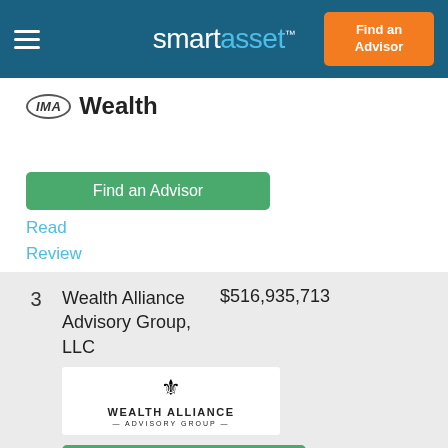smartasset™  Find an Advisor
[Figure (logo): IMA Wealth logo with oval IMA mark and bold Wealth text]
Find an Advisor
Read
Review
| # | Name | AUM |
| --- | --- | --- |
| 3 | Wealth Alliance Advisory Group, LLC | $516,935,713 |
[Figure (logo): Wealth Alliance Advisory Group logo with crest and text]
Find an Advisor
Read
Review